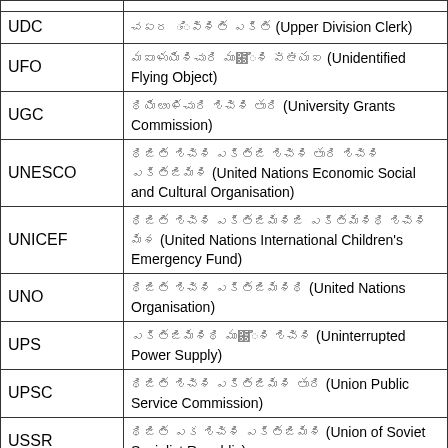| Abbreviation | Meaning |
| --- | --- |
| UDC | UpperDivisionClerk (Upper Division Clerk) |
| UFO | UnidentifiedFlyingObject (Unidentified Flying Object) |
| UGC | UniversityGrantsCommission (University Grants Commission) |
| UNESCO | UnitedNationsEconomicSocialandCulturalOrganisation (United Nations Economic Social and Cultural Organisation) |
| UNICEF | UnitedNationsInternationalChildrensEmergencyFund (United Nations International Children's Emergency Fund) |
| UNO | UnitedNationsOrganisation (United Nations Organisation) |
| UPS | UninterruptedPowerSupply (Uninterrupted Power Supply) |
| UPSC | UnionPublicServiceCommission (Union Public Service Commission) |
| USSR | UnionofSovietSocialistRepublic (Union of Soviet Socialist Republic) |